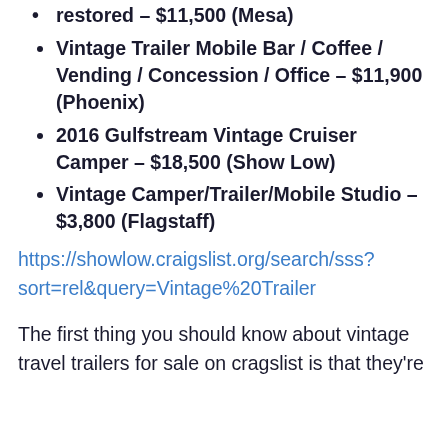restored – $11,500 (Mesa)
Vintage Trailer Mobile Bar / Coffee / Vending / Concession / Office – $11,900 (Phoenix)
2016 Gulfstream Vintage Cruiser Camper – $18,500 (Show Low)
Vintage Camper/Trailer/Mobile Studio – $3,800 (Flagstaff)
https://showlow.craigslist.org/search/sss?sort=rel&query=Vintage%20Trailer
The first thing you should know about vintage travel trailers for sale on cragslist is that they're